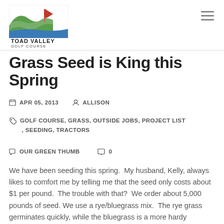[Figure (logo): Toad Valley Golf Course logo with green hills, blue water, red flag, and text 'TOAD VALLEY GOLF COURSE']
Grass Seed is King this Spring
APR 05, 2013   ALLISON
GOLF COURSE, GRASS, OUTSIDE JOBS, PROJECT LIST , SEEDING, TRACTORS
OUR GREEN THUMB   0
We have been seeding this spring.  My husband, Kelly, always likes to comfort me by telling me that the seed only costs about $1 per pound.  The trouble with that?  We order about 5,000 pounds of seed. We use a rye/bluegrass mix.  The rye grass germinates quickly, while the bluegrass is a more hardy grass.The […]